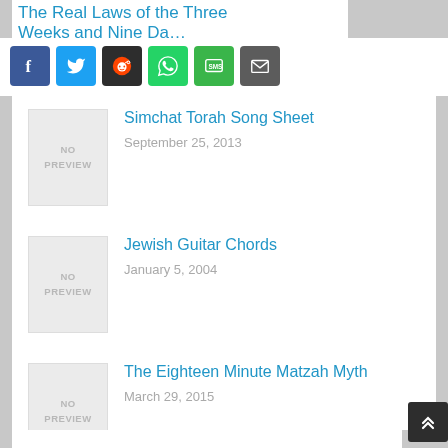The Real Laws of the Three Weeks and Nine Days
[Figure (other): Social share buttons: Facebook, Twitter, Reddit, WhatsApp, SMS, Email]
Simchat Torah Song Sheet
September 25, 2013
Jewish Guitar Chords
January 5, 2004
The Eighteen Minute Matzah Myth
March 29, 2015
Next »